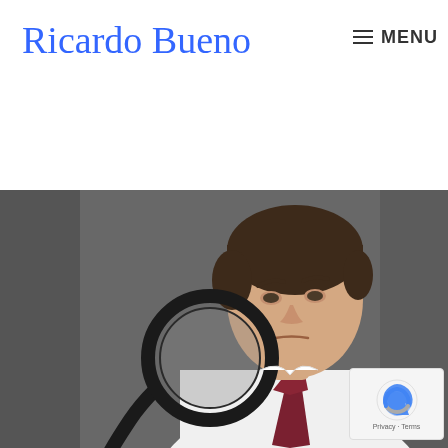Ricardo Bueno  ≡ MENU
[Figure (photo): A man in a white dress shirt and dark red tie holding a magnifying glass and looking at it intently against a dark grey background.]